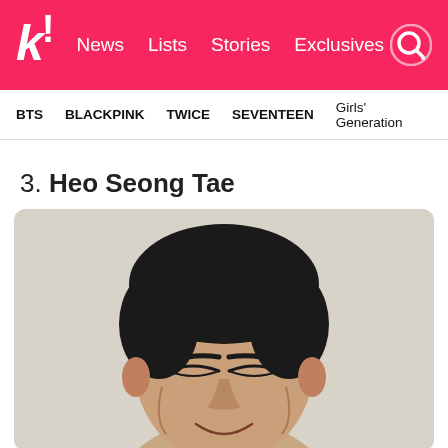k! News Lists Stories Exclusives
BTS  BLACKPINK  TWICE  SEVENTEEN  Girls' Generation
3. Heo Seong Tae
[Figure (photo): Portrait photo of Heo Seong Tae, a Korean man with short dark hair, smiling with squinting eyes, against a light beige/grey background.]